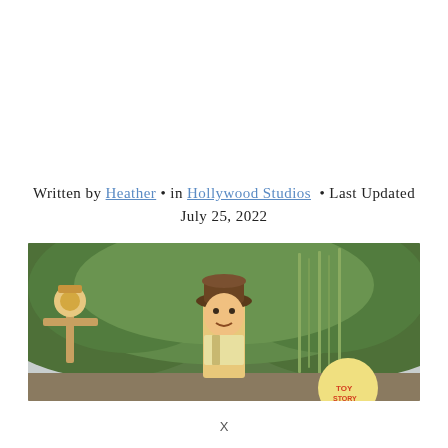Written by Heather • in Hollywood Studios • Last Updated July 25, 2022
[Figure (photo): Wide panoramic photo of Toy Story Land at Hollywood Studios showing large Woody character figure and other toy-themed sculptures against a backdrop of green trees under an overcast sky.]
X